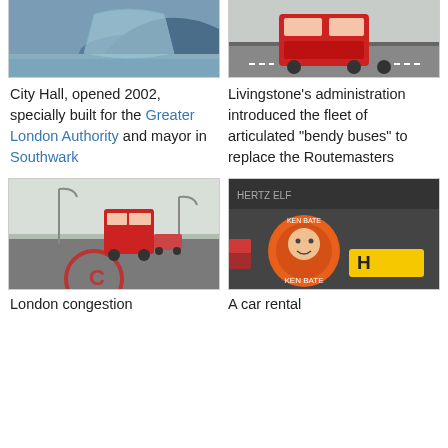[Figure (photo): City Hall building (a distinctive spherical glass building near the Thames), opened 2002]
[Figure (photo): Red articulated bendy bus on a London street]
City Hall, opened 2002, specially built for the Greater London Authority and mayor in Southwark
Livingstone's administration introduced the fleet of articulated "bendy buses" to replace the Routemasters
[Figure (photo): London congestion charge zone street scene with red double-decker bus on roundabout]
[Figure (photo): A car rental vehicle with a round sticker/badge on its rear]
London congestion
A car rental